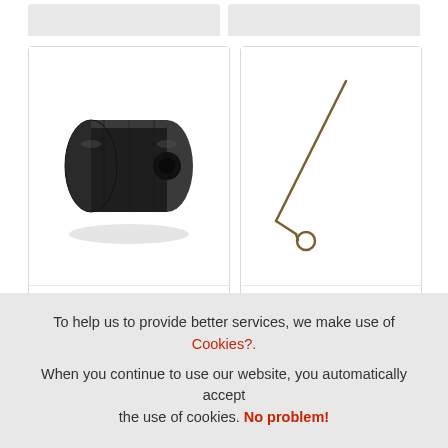[Figure (photo): Product card for accelerator pedal roller (part 0275-250): black cylindrical rubber roller with central hole, shown from slight angle]
0275-250
Accelerator pedal roller
[Figure (photo): Product card for spring behind accelerator (part 0275-350): thin metal torsion spring / wire clip with a long straight arm and small loop at the end]
0275-350
Spring behind accelerator
To help us to provide better services, we make use of Cookies?.
When you continue to use our website, you automatically accept the use of cookies. No problem!